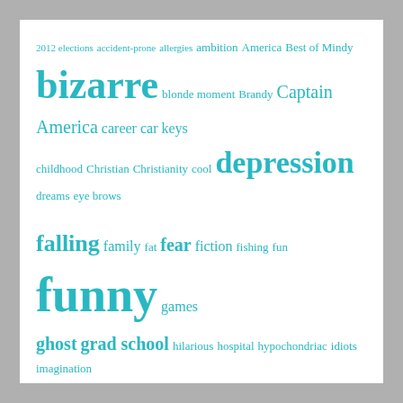[Figure (infographic): Tag cloud with teal/cyan colored words in various font sizes representing blog topics. Words include: 2012 elections, accident-prone, allergies, ambition, America, Best of Mindy, bizarre, blonde moment, Brandy, Captain America, career, car keys, childhood, Christian, Christianity, cool, depression, dreams, eye brows, falling, family, fat, fear, fiction, fishing, fun, funny, games, ghost, grad school, hilarious, hospital, hypochondriac, idiots, imagination, job interview, jobs, Kath & Smith, kitteh, klutz, language, mental health, Minday, mom, narrator, New Years, nightmares, one-liners, ouch, overactive imagination, pain, party, prude, questions, reading, Red Dawn, scares, scars, sex, shoes, short story, siblings, sick, silly, sister, spiders, stress, talking, Teddy Roosevelt, teeth, terror, Thanksgiving, tonsillitis, traffic rules, TV]
– Blogs I Follow –